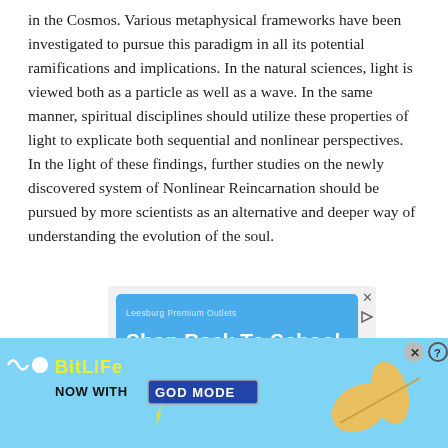in the Cosmos. Various metaphysical frameworks have been investigated to pursue this paradigm in all its potential ramifications and implications. In the natural sciences, light is viewed both as a particle as well as a wave. In the same manner, spiritual disciplines should utilize these properties of light to explicate both sequential and nonlinear perspectives. In the light of these findings, further studies on the newly discovered system of Nonlinear Reincarnation should be pursued by more scientists as an alternative and deeper way of understanding the evolution of the soul.
[Figure (screenshot): Advertisement for Leesburg Premium Outlets - Shop Back To School Deals. Blue background with white text. Shows 'Leesburg Premium Outlets' label, 'Shop Back To School Deals' headline, and 'Gear up for back to school!' subtext.]
[Figure (screenshot): Bottom banner advertisement for BitLife game - 'Now With GOD MODE'. Light blue background with yellow BitLife logo, cartoon hand graphics, close and help buttons.]